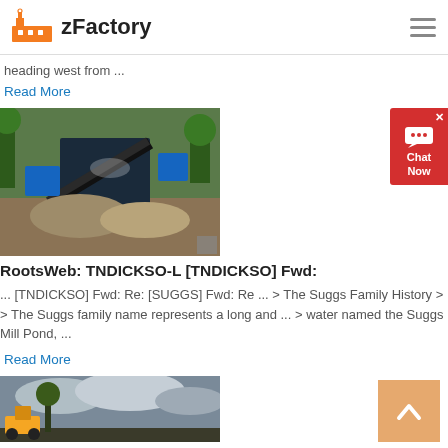zFactory
heading west from ...
Read More
[Figure (photo): Industrial stone crushing machine with gravel mounds and blue machinery on a dirt site surrounded by green trees]
RootsWeb: TNDICKSO-L [TNDICKSO] Fwd:
... [TNDICKSO] Fwd: Re: [SUGGS] Fwd: Re ... > The Suggs Family History > > The Suggs family name represents a long and ... > water named the Suggs Mill Pond, ...
Read More
[Figure (photo): Construction vehicle with cloudy sky background]